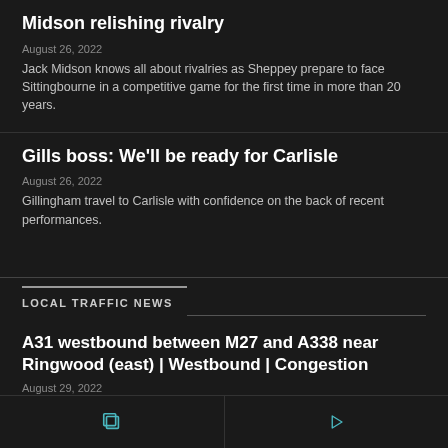Midson relishing rivalry
August 26, 2022
Jack Midson knows all about rivalries as Sheppey prepare to face Sittingbourne in a competitive game for the first time in more than 20 years.
Gills boss: We'll be ready for Carlisle
August 26, 2022
Gillingham travel to Carlisle with confidence on the back of recent performances.
LOCAL TRAFFIC NEWS
A31 westbound between M27 and A338 near Ringwood (east) | Westbound | Congestion
August 29, 2022